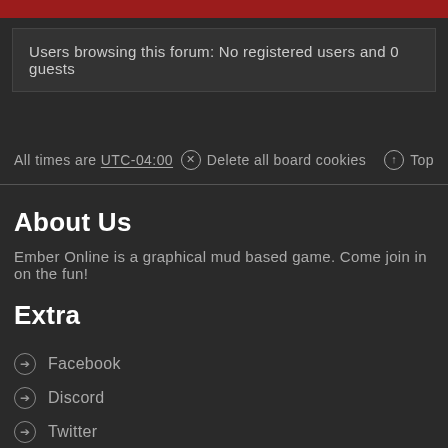Users browsing this forum: No registered users and 0 guests
All times are UTC-04:00   ⊗ Delete all board cookies   ↑ Top
About Us
Ember Online is a graphical mud based game. Come join in on the fun!
Extra
Facebook
Discord
Twitter
Download